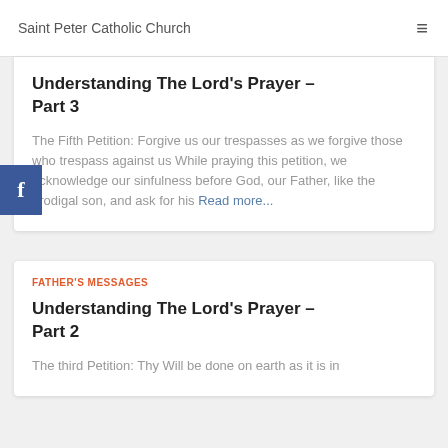Saint Peter Catholic Church
Understanding The Lord's Prayer – Part 3
The Fifth Petition: Forgive us our trespasses as we forgive those who trespass against us While praying this petition, we acknowledge our sinfulness before God, our Father, like the prodigal son, and ask for his Read more...
FATHER'S MESSAGES
Understanding The Lord's Prayer – Part 2
The third Petition: Thy Will be done on earth as it is in